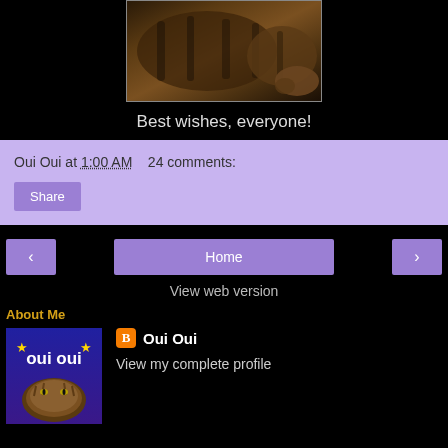[Figure (photo): Close-up photo of a tabby cat's striped fur and body, dark background]
Best wishes, everyone!
Oui Oui at 1:00 AM   24 comments:
Share
Home
View web version
About Me
[Figure (logo): Blogger profile image: blue/purple background with 'oui oui' text in white, gold stars, and a tabby cat photo below]
Oui Oui
View my complete profile